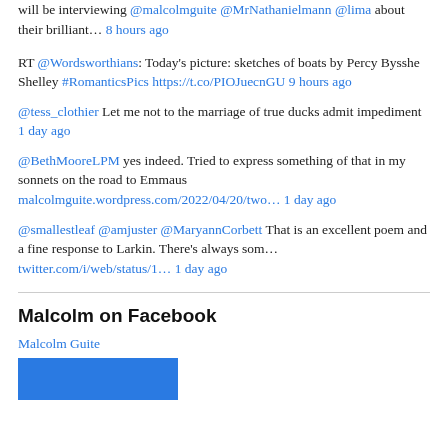will be interviewing @malcolmguite @MrNathanielmann @lima about their brilliant… 8 hours ago
RT @Wordsworthians: Today's picture: sketches of boats by Percy Bysshe Shelley #RomanticsPics https://t.co/PIOJuecnGU 9 hours ago
@tess_clothier Let me not to the marriage of true ducks admit impediment 1 day ago
@BethMooreLPM yes indeed. Tried to express something of that in my sonnets on the road to Emmaus malcolmguite.wordpress.com/2022/04/20/two… 1 day ago
@smallestleaf @amjuster @MaryannCorbett That is an excellent poem and a fine response to Larkin. There's always som… twitter.com/i/web/status/1… 1 day ago
Malcolm on Facebook
Malcolm Guite